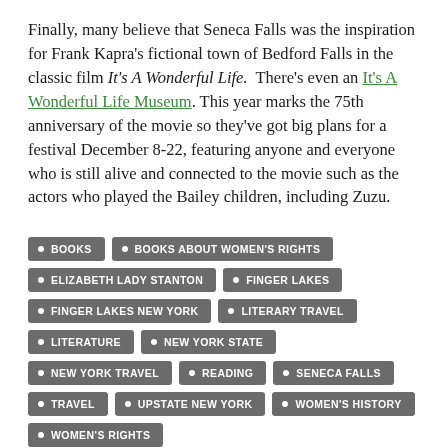Finally, many believe that Seneca Falls was the inspiration for Frank Kapra's fictional town of Bedford Falls in the classic film It's A Wonderful Life. There's even an It's A Wonderful Life Museum. This year marks the 75th anniversary of the movie so they've got big plans for a festival December 8-22, featuring anyone and everyone who is still alive and connected to the movie such as the actors who played the Bailey children, including Zuzu.
BOOKS
BOOKS ABOUT WOMEN'S RIGHTS
ELIZABETH LADY STANTON
FINGER LAKES
FINGER LAKES NEW YORK
LITERARY TRAVEL
LITERATURE
NEW YORK STATE
NEW YORK TRAVEL
READING
SENECA FALLS
TRAVEL
UPSTATE NEW YORK
WOMEN'S HISTORY
WOMEN'S RIGHTS
WOMEN'S RIGHTS NATIONAL HISTORIC PARK